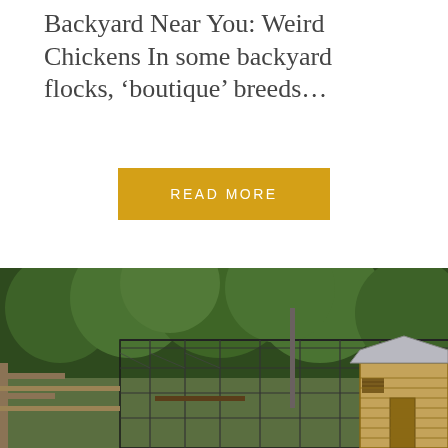Backyard Near You: Weird Chickens In some backyard flocks, 'boutique' breeds…
READ MORE
Share This:
Share
Like this:
[Figure (photo): Outdoor photo showing a chicken coop with chain-link fenced enclosure surrounded by green trees, with a wooden shed building visible to the right.]